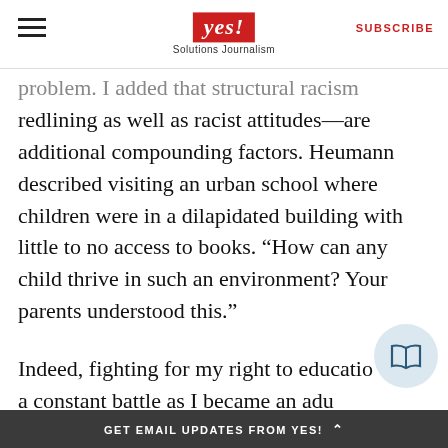yes! Solutions Journalism | SUBSCRIBE
problem. I added that structural racism redlining as well as racist attitudes—are additional compounding factors. Heumann described visiting an urban school where children were in a dilapidated building with little to no access to books. “How can any child thrive in such an environment? Your parents understood this.”
Indeed, fighting for my right to education was a constant battle as I became an adu
GET EMAIL UPDATES FROM YES! ∧